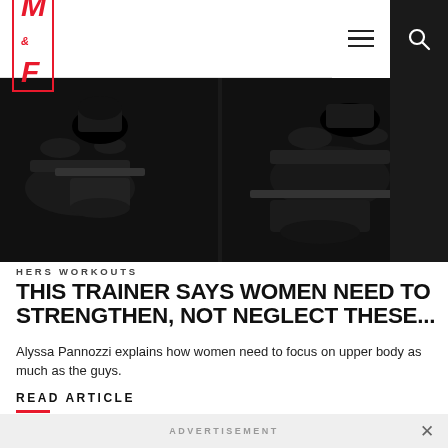M&F (Muscle & Fitness)
[Figure (photo): Dark gym photo showing hands gripping dumbbells or gym equipment, split into two panels side by side]
HERS WORKOUTS
THIS TRAINER SAYS WOMEN NEED TO STRENGTHEN, NOT NEGLECT THESE...
Alyssa Pannozzi explains how women need to focus on upper body as much as the guys.
READ ARTICLE
ALL HERS WORKOUTS
ADVERTISEMENT